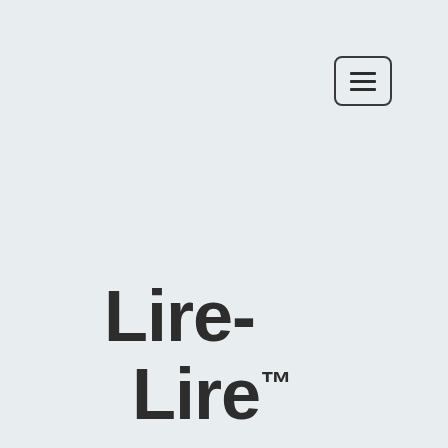[Figure (other): Hamburger menu button icon with three horizontal lines inside a rounded rectangle border]
Lire- Lire™ La bibliothèque Jeunesse numérique